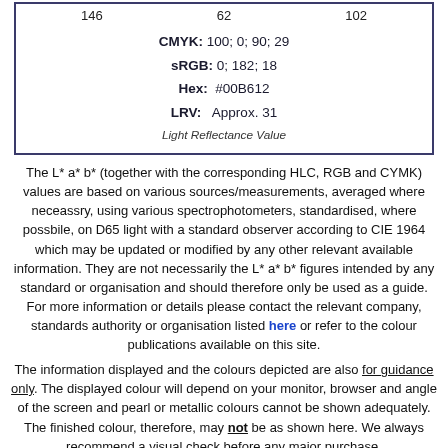| 146 | 62 | 102 |
| CMYK: 100; 0; 90; 29 |
| sRGB: 0; 182; 18 |
| Hex: #00B612 |
| LRV: Approx. 31 |
| Light Reflectance Value |
The L* a* b* (together with the corresponding HLC, RGB and CYMK) values are based on various sources/measurements, averaged where neceassry, using various spectrophotometers, standardised, where possbile, on D65 light with a standard observer according to CIE 1964 which may be updated or modified by any other relevant available information. They are not necessarily the L* a* b* figures intended by any standard or organisation and should therefore only be used as a guide. For more information or details please contact the relevant company, standards authority or organisation listed here or refer to the colour publications available on this site.
The information displayed and the colours depicted are also for guidance only. The displayed colour will depend on your monitor, browser and angle of the screen and pearl or metallic colours cannot be shown adequately. The finished colour, therefore, may not be as shown here. We always recommend a visual check before any major purchase.